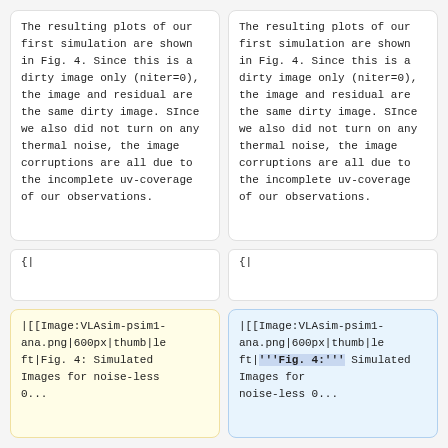The resulting plots of our first simulation are shown in Fig. 4. Since this is a dirty image only (niter=0), the image and residual are the same dirty image. SInce we also did not turn on any thermal noise, the image corruptions are all due to the incomplete uv-coverage of our observations.
The resulting plots of our first simulation are shown in Fig. 4. Since this is a dirty image only (niter=0), the image and residual are the same dirty image. SInce we also did not turn on any thermal noise, the image corruptions are all due to the incomplete uv-coverage of our observations.
{|
{|
|[[Image:VLAsim-psim1-ana.png|600px|thumb|left|Fig. 4: Simulated Images for noise-less 0...
|[[Image:VLAsim-psim1-ana.png|600px|thumb|left|'''Fig. 4:''' Simulated Images for noise-less 0...